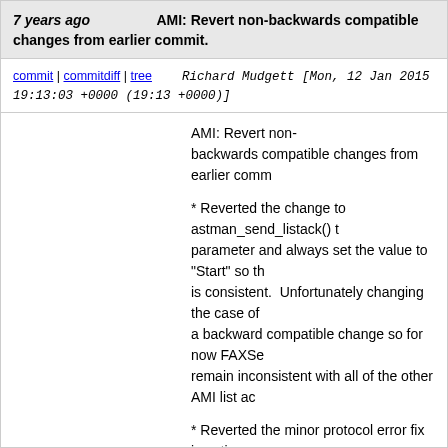7 years ago   AMI: Revert non-backwards compatible changes from earlier commit.
commit | commitdiff | tree   Richard Mudgett [Mon, 12 Jan 2015 19:13:03 +0000 (19:13 +0000)]
AMI: Revert non-backwards compatible changes from earlier comm

* Reverted the change to astman_send_listack() to parameter and always set the value to "Start" so th is consistent.  Unfortunately changing the case of a backward compatible change so for now FAXSe remain inconsistent with all of the other AMI list ac

* Reverted the minor protocol error fix in action_ge requested categories are found.  Each line needs "Header: text".

Caught by the testsuite.

ASTERISK-24049
.........

Merged revisions 430528 from http://svn.asterisk.o

git-svn-
id: https://origsvn.digium.com/svn/asterisk/trunk@